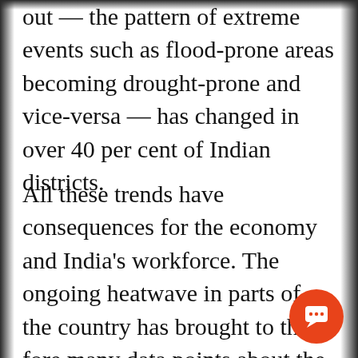out — the pattern of extreme events such as flood-prone areas becoming drought-prone and vice-versa — has changed in over 40 per cent of Indian districts.
All these trends have consequences for the economy and India's workforce. The ongoing heatwave in parts of the country has brought to the fore many data points about the impact of heat stress on the world of work. There is a International Labour Organisation study that says India is one of the countries most affected by heat stress, and that it lost 4.3 per cent working hours in 1995. More worrying, India is projected to lose 5.8 per cent of